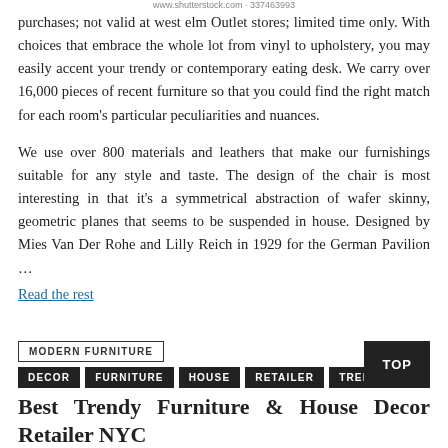www.shutterstock.com · 337463993
purchases; not valid at west elm Outlet stores; limited time only. With choices that embrace the whole lot from vinyl to upholstery, you may easily accent your trendy or contemporary eating desk. We carry over 16,000 pieces of recent furniture so that you could find the right match for each room's particular peculiarities and nuances.
We use over 800 materials and leathers that make our furnishings suitable for any style and taste. The design of the chair is most interesting in that it's a symmetrical abstraction of wafer skinny, geometric planes that seems to be suspended in house. Designed by Mies Van Der Rohe and Lilly Reich in 1929 for the German Pavilion …
Read the rest
MODERN FURNITURE
DECOR
FURNITURE
HOUSE
RETAILER
TRENDY
Best Trendy Furniture & House Decor Retailer NYC